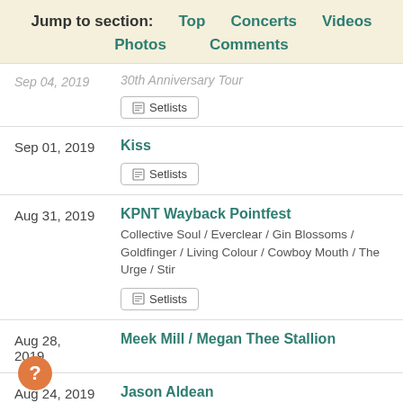Jump to section: Top  Concerts  Videos  Photos  Comments
Sep 04, 2019 — 30th Anniversary Tour — Setlists
Sep 01, 2019 — Kiss — Setlists
Aug 31, 2019 — KPNT Wayback Pointfest — Collective Soul / Everclear / Gin Blossoms / Goldfinger / Living Colour / Cowboy Mouth / The Urge / Stir — Setlists
Aug 28, 2019 — Meek Mill / Megan Thee Stallion
Aug 24, 2019 — Jason Aldean
Aug 23, 2019 — Korn / Alice in Chains / Underoath /